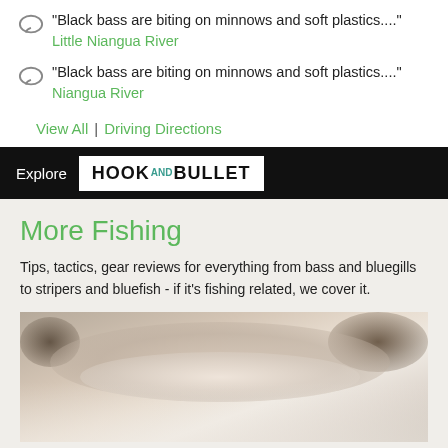"Black bass are biting on minnows and soft plastics...." Little Niangua River
"Black bass are biting on minnows and soft plastics...." Niangua River
View All | Driving Directions
[Figure (logo): Hook and Bullet logo on black banner with 'Explore' text]
More Fishing
Tips, tactics, gear reviews for everything from bass and bluegills to stripers and bluefish - if it's fishing related, we cover it.
[Figure (photo): Close-up blurred photo of a fish, light and warm tones]